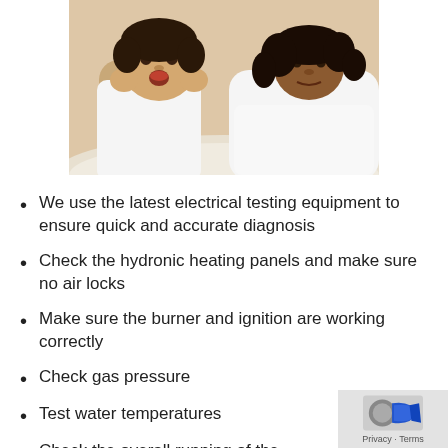[Figure (photo): Photo of a young child and a woman (likely mother), both wearing white, lying down and looking at the camera. The child has their hands on their cheeks with mouth open. The woman has curly dark hair.]
We use the latest electrical testing equipment to ensure quick and accurate diagnosis
Check the hydronic heating panels and make sure no air locks
Make sure the burner and ignition are working correctly
Check gas pressure
Test water temperatures
Check the overall running of the...